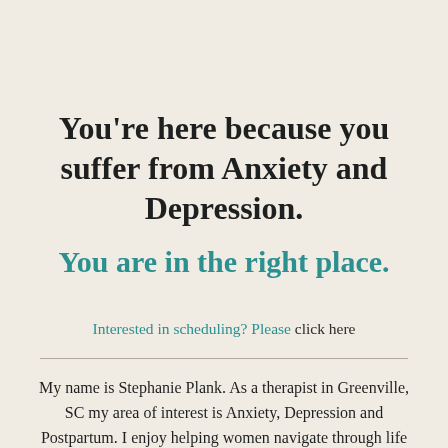You're here because you suffer from Anxiety and Depression.
You are in the right place.
Interested in scheduling? Please click here
My name is Stephanie Plank. As a therapist in Greenville, SC my area of interest is Anxiety, Depression and Postpartum. I enjoy helping women navigate through life adjustments while also tackling those